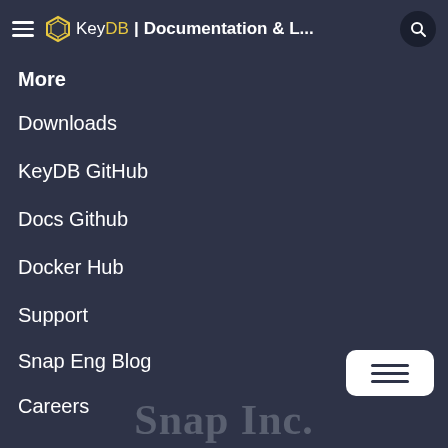KeyDB | Documentation & L...
More
Downloads
KeyDB GitHub
Docs Github
Docker Hub
Support
Snap Eng Blog
Careers
Snap Inc.